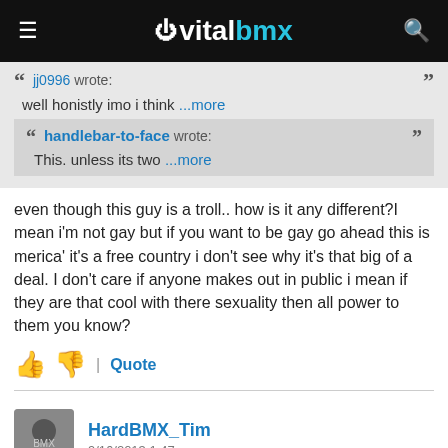vitalbmx
jj0996 wrote: well honistly imo i think ...more
handlebar-to-face wrote: This. unless its two ...more
even though this guy is a troll.. how is it any different?I mean i'm not gay but if you want to be gay go ahead this is merica' it's a free country i don't see why it's that big of a deal. I don't care if anyone makes out in public i mean if they are that cool with there sexuality then all power to them you know?
Quote
HardBMX_Tim
9/16/2013 1:47am
Only two ATTRACTIVE females can make out in public. Because